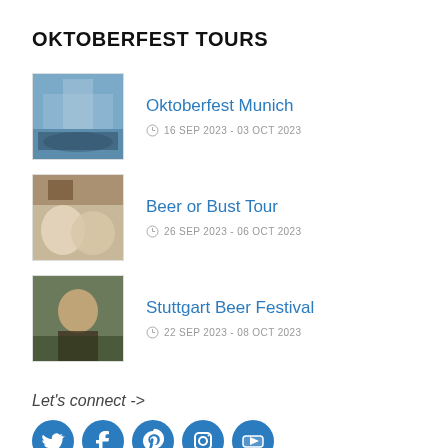OKTOBERFEST TOURS
Oktoberfest Munich
16 SEP 2023 - 03 OCT 2023
Beer or Bust Tour
26 SEP 2023 - 06 OCT 2023
Stuttgart Beer Festival
22 SEP 2023 - 08 OCT 2023
Let's connect ->
[Figure (infographic): Social media icons: Twitter, Facebook, Pinterest, Instagram, YouTube — blue circular icons]